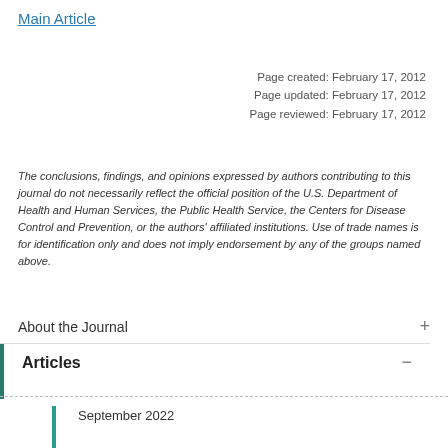Main Article
Page created: February 17, 2012
Page updated: February 17, 2012
Page reviewed: February 17, 2012
The conclusions, findings, and opinions expressed by authors contributing to this journal do not necessarily reflect the official position of the U.S. Department of Health and Human Services, the Public Health Service, the Centers for Disease Control and Prevention, or the authors' affiliated institutions. Use of trade names is for identification only and does not imply endorsement by any of the groups named above.
About the Journal
Articles
September 2022